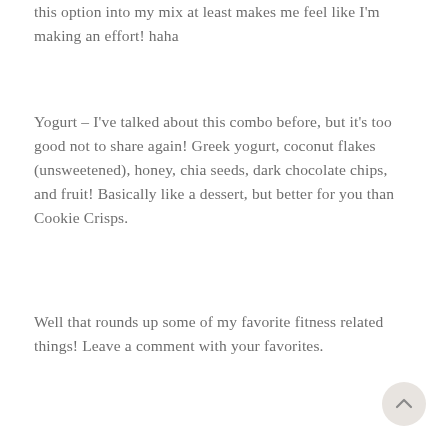this option into my mix at least makes me feel like I'm making an effort! haha
Yogurt – I've talked about this combo before, but it's too good not to share again! Greek yogurt, coconut flakes (unsweetened), honey, chia seeds, dark chocolate chips, and fruit! Basically like a dessert, but better for you than Cookie Crisps.
Well that rounds up some of my favorite fitness related things! Leave a comment with your favorites.